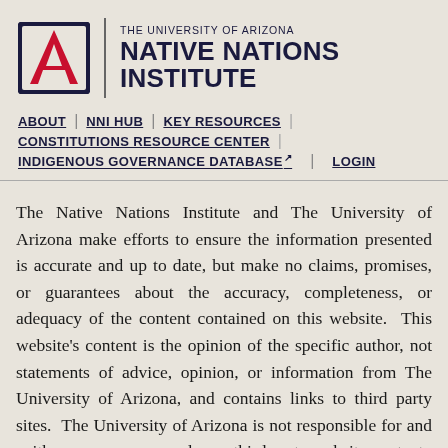[Figure (logo): University of Arizona 'A' logo mark with red A and navy blue border, followed by vertical divider and text 'THE UNIVERSITY OF ARIZONA NATIVE NATIONS INSTITUTE']
THE UNIVERSITY OF ARIZONA NATIVE NATIONS INSTITUTE
ABOUT
NNI HUB
KEY RESOURCES
CONSTITUTIONS RESOURCE CENTER
INDIGENOUS GOVERNANCE DATABASE
LOGIN
The Native Nations Institute and The University of Arizona make efforts to ensure the information presented is accurate and up to date, but make no claims, promises, or guarantees about the accuracy, completeness, or adequacy of the content contained on this website.  This website's content is the opinion of the specific author, not statements of advice, opinion, or information from The University of Arizona, and contains links to third party sites.  The University of Arizona is not responsible for and neither approves nor endorses third party website content.  Information presented on this website and the